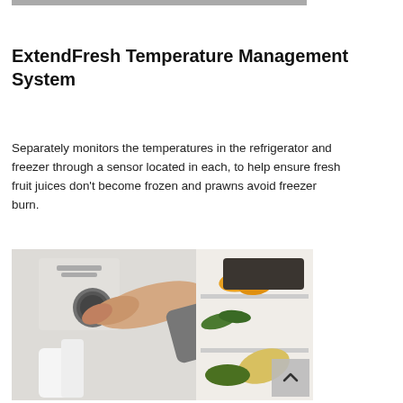[Figure (photo): Partial view of a product photo strip at top of page]
ExtendFresh Temperature Management System
Separately monitors the temperatures in the refrigerator and freezer through a sensor located in each, to help ensure fresh fruit juices don't become frozen and prawns avoid freezer burn.
[Figure (photo): A hand pressing a button on a white refrigerator control panel, with vegetables visible on refrigerator shelves in the background. A scroll-to-top button is overlaid in the bottom-right corner.]